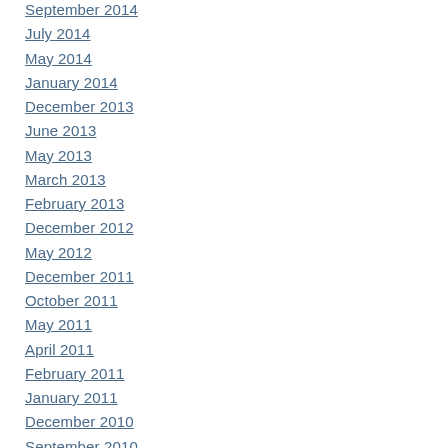September 2014
July 2014
May 2014
January 2014
December 2013
June 2013
May 2013
March 2013
February 2013
December 2012
May 2012
December 2011
October 2011
May 2011
April 2011
February 2011
January 2011
December 2010
September 2010